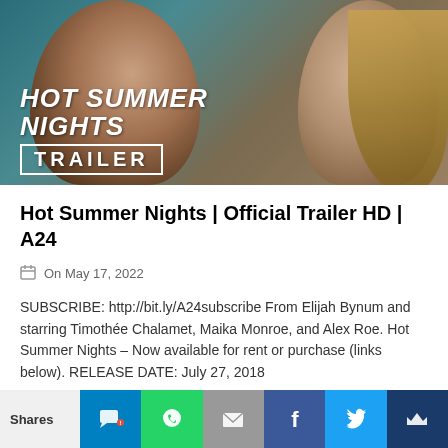[Figure (screenshot): Movie thumbnail for Hot Summer Nights trailer showing two people close together about to kiss, with bold italic white text reading HOT SUMMER NIGHTS and TRAILER in a white box border, on a teal/dark background]
Hot Summer Nights | Official Trailer HD | A24
On May 17, 2022
SUBSCRIBE: http://bit.ly/A24subscribe From Elijah Bynum and starring Timothée Chalamet, Maika Monroe, and Alex Roe. Hot Summer Nights – Now available for rent or purchase (links below). RELEASE DATE: July 27, 2018